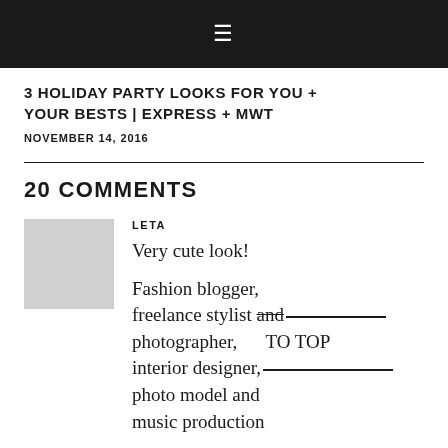☰
3 HOLIDAY PARTY LOOKS FOR YOU + YOUR BESTS | EXPRESS + MWT
NOVEMBER 14, 2016
20 COMMENTS
LETA
Very cute look!
Fashion blogger, freelance stylist and photographer, interior designer, photo model and music production